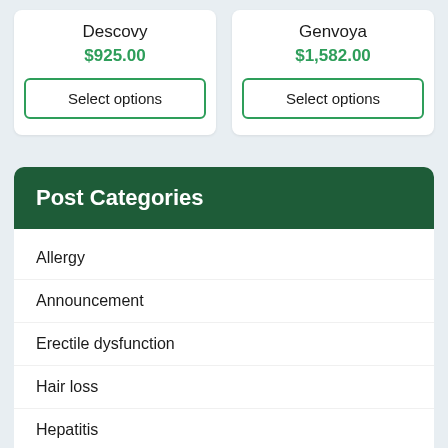Descovy
$925.00
Select options
Genvoya
$1,582.00
Select options
Post Categories
Allergy
Announcement
Erectile dysfunction
Hair loss
Hepatitis
Herpes